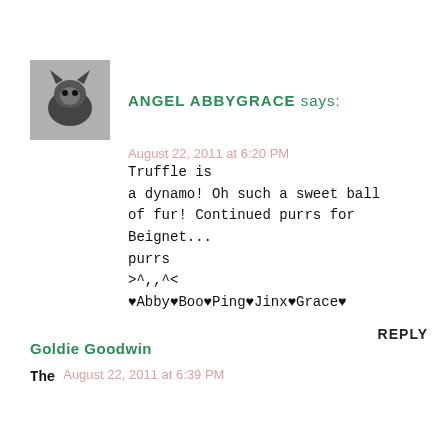[Figure (photo): Black and white photo of a cat (avatar image)]
ANGEL ABBYGRACE says:
August 22, 2011 at 6:20 PM
Truffle is a dynamo! Oh such a sweet ball of fur! Continued purrs for Beignet...
purrs
>^,,^<
♥Abby♥Boo♥Ping♥Jinx♥Grace♥
REPLY
Goldie Goodwin
The
August 22, 2011 at 6:39 PM